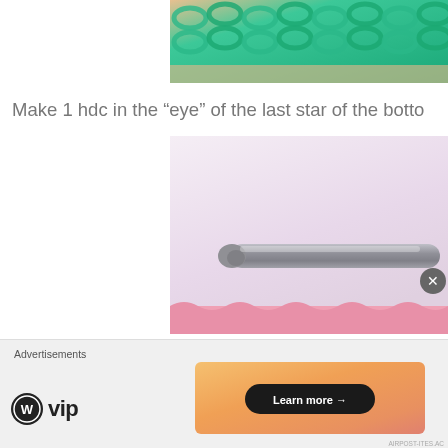[Figure (photo): Close-up of teal/mint colored crochet yarn work showing star stitch pattern, with salmon/peach yarn visible at bottom edge]
Make 1 hdc in the “eye” of the last star of the botto
[Figure (photo): Close-up of a silver crochet hook resting on a light pink/lavender surface with pink yarn visible at the bottom]
Advertisements
[Figure (logo): WordPress VIP logo with WP icon and 'vip' text]
[Figure (infographic): Orange/coral gradient advertisement banner with a dark 'Learn more →' button]